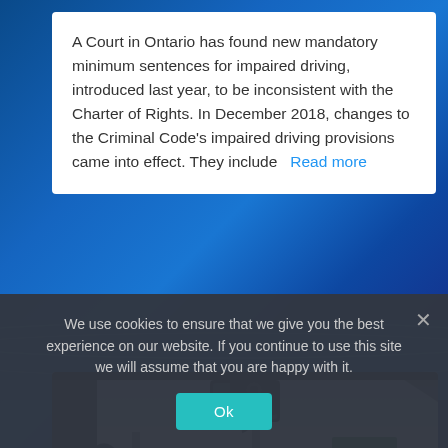A Court in Ontario has found new mandatory minimum sentences for impaired driving, introduced last year, to be inconsistent with the Charter of Rights. In December 2018, changes to the Criminal Code's impaired driving provisions came into effect. They include   Read more
[Figure (photo): View from inside a car windshield showing dashcam mounted on the glass, rearview mirror, and city highway traffic ahead with green road signs visible]
We use cookies to ensure that we give you the best experience on our website. If you continue to use this site we will assume that you are happy with it.